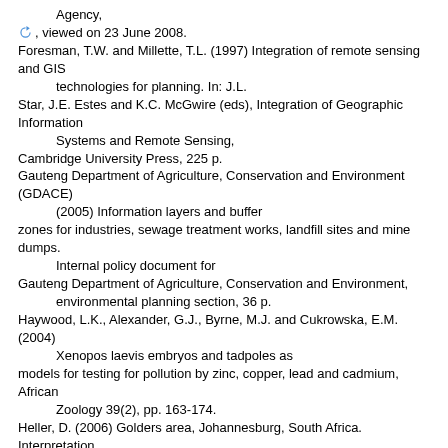Agency,
[link icon] , viewed on 23 June 2008.
Foresman, T.W. and Millette, T.L. (1997) Integration of remote sensing and GIS technologies for planning. In: J.L.
Star, J.E. Estes and K.C. McGwire (eds), Integration of Geographic Information Systems and Remote Sensing,
Cambridge University Press, 225 p.
Gauteng Department of Agriculture, Conservation and Environment (GDACE) (2005) Information layers and buffer zones for industries, sewage treatment works, landfill sites and mine dumps. Internal policy document for
Gauteng Department of Agriculture, Conservation and Environment, environmental planning section, 36 p.
Haywood, L.K., Alexander, G.J., Byrne, M.J. and Cukrowska, E.M. (2004) Xenopos laevis embryos and tadpoles as models for testing for pollution by zinc, copper, lead and cadmium, African Zoology 39(2), pp. 163-174.
Heller, D. (2006) Golders area, Johannesburg, South Africa. Interpretation report. Bar-kal Systems Engineering Ltd. Ref: UC-10070, 6 p.
Hodgson, F.D.I., Usher, B.H., Scott, R., Zeelie, S., Cruywagen, L.-M. and De Necker, E. (2001) Prediction techniques and preventative measures relating to the post-operational impact of underground mines on the quality and quantity of groundwater resources, Water Research Commission Report No. 699/1/01, Pretoria.